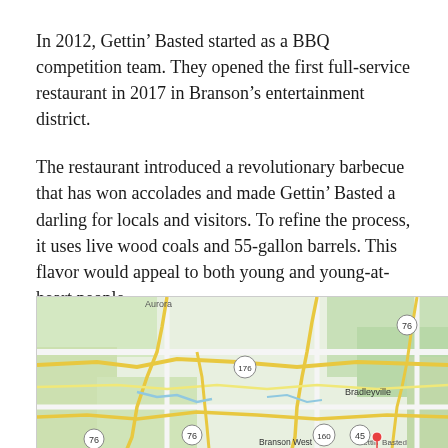In 2012, Gettin’ Basted started as a BBQ competition team. They opened the first full-service restaurant in 2017 in Branson’s entertainment district.
The restaurant introduced a revolutionary barbecue that has won accolades and made Gettin’ Basted a darling for locals and visitors. To refine the process, it uses live wood coals and 55-gallon barrels. This flavor would appeal to both young and young-at-heart people.
[Figure (map): Google Maps screenshot showing the area around Branson, Missouri, with roads, labels for Aurora, Bradleyville, Branson West, route markers (76, 176, 160, 145), and a marker for Gettin’ Basted restaurant.]